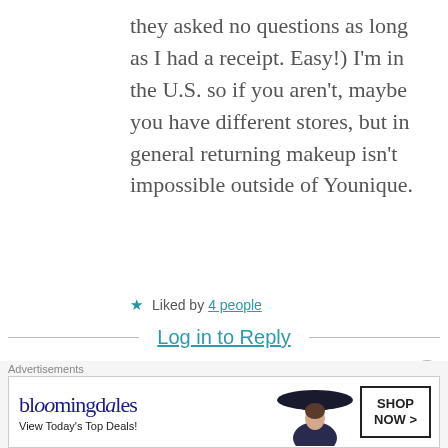they asked no questions as long as I had a receipt. Easy!) I'm in the U.S. so if you aren't, maybe you have different stores, but in general returning makeup isn't impossible outside of Younique.
★ Liked by 4 people
Log in to Reply
[Figure (illustration): Avatar illustration of a cartoon woman with reddish hair and glasses, on a pink circular background]
SH
NOV 26, 2017 AT 5:12 PM
[Figure (screenshot): Bloomingdale's advertisement banner: 'bloomingdales View Today's Top Deals! SHOP NOW >']